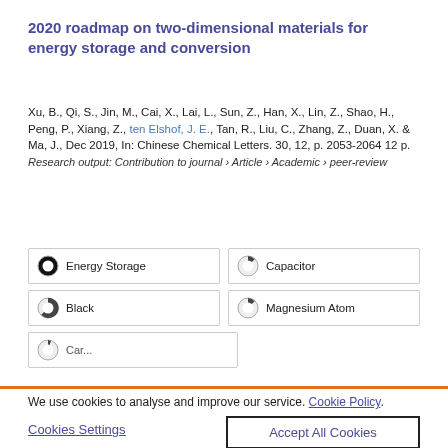2020 roadmap on two-dimensional materials for energy storage and conversion
Xu, B., Qi, S., Jin, M., Cai, X., Lai, L., Sun, Z., Han, X., Lin, Z., Shao, H., Peng, P., Xiang, Z., ten Elshof, J. E., Tan, R., Liu, C., Zhang, Z., Duan, X. & Ma, J., Dec 2019, In: Chinese Chemical Letters. 30, 12, p. 2053-2064 12 p.
Research output: Contribution to journal › Article › Academic › peer-review
Energy Storage
Capacitor
Black
Magnesium Atom
We use cookies to analyse and improve our service. Cookie Policy
Cookies Settings
Accept All Cookies